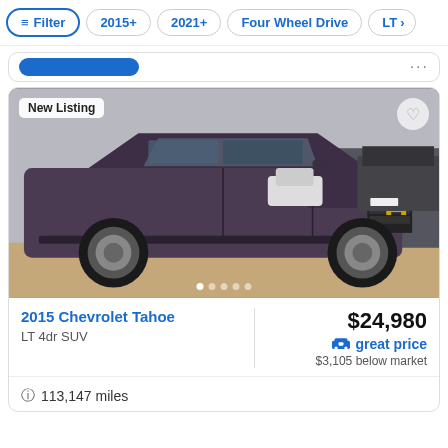Filter | 2015+ | 2021+ | Four Wheel Drive | LT
[Figure (photo): Photo of a 2015 Chevrolet Tahoe LT SUV in dark grayish-purple color, parked in a lot with other vehicles. Badge 'New Listing' in top-left corner, heart icon in top-right, pagination dots at bottom.]
2015 Chevrolet Tahoe
LT 4dr SUV
$24,980
great price
$3,105 below market
113,147 miles